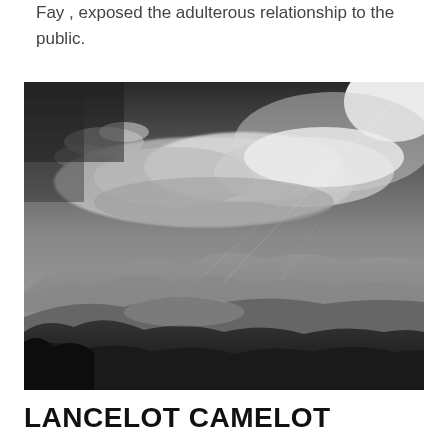Fay , exposed the adulterous relationship to the public.
[Figure (photo): Black and white landscape photograph showing dramatic mountain scenery with layered mountain ridges in the foreground and background, and a dramatic cloudy sky with bright sunlight breaking through in the upper right corner.]
LANCELOT CAMELOT